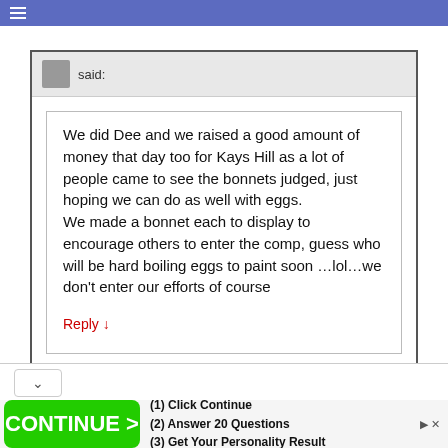Navigation bar with hamburger menu
said:
We did Dee and we raised a good amount of money that day too for Kays Hill as a lot of people came to see the bonnets judged, just hoping we can do as well with eggs.
We made a bonnet each to display to encourage others to enter the comp, guess who will be hard boiling eggs to paint soon …lol…we don't enter our efforts of course
Reply ↓
[Figure (screenshot): Expand/collapse chevron button area]
[Figure (infographic): Advertisement banner: CONTINUE > button with (1) Click Continue (2) Answer 20 Questions (3) Get Your Personality Result]